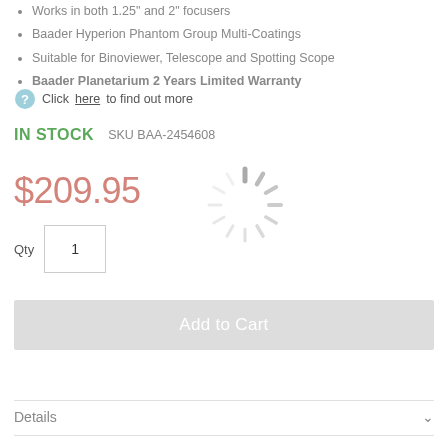Works in both 1.25" and 2" focusers
Baader Hyperion Phantom Group Multi-Coatings
Suitable for Binoviewer, Telescope and Spotting Scope
Baader Planetarium 2 Years Limited Warranty
Click here to find out more
IN STOCK   SKU BAA-2454608
$209.95
[Figure (other): Loading spinner animation graphic]
Qty  1
Add to Cart
Details